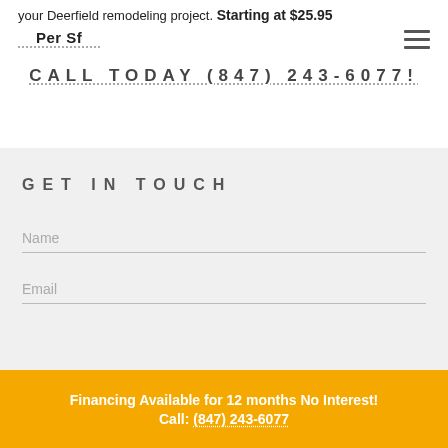your Deerfield remodeling project. Starting at $25.95 Per Sf
CALL TODAY (847) 243-6077!
GET IN TOUCH
Name
Email
Financing Available for 12 months No Interest! Call: (847) 243-6077